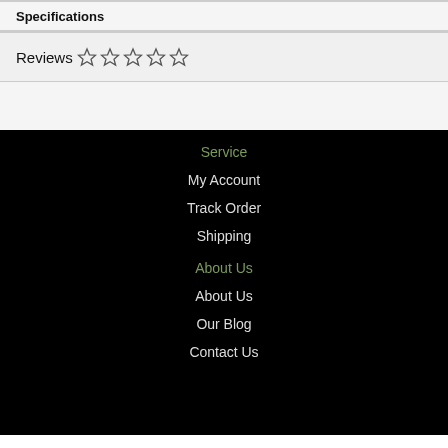Specifications
Reviews ☆☆☆☆☆
Service
My Account
Track Order
Shipping
About Us
About Us
Our Blog
Contact Us